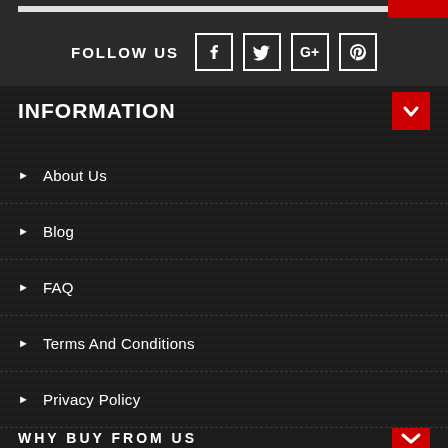FOLLOW US
INFORMATION
About Us
Blog
FAQ
Terms And Conditions
Privacy Policy
Contact Us